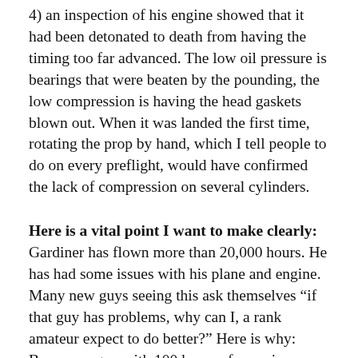4) an inspection of his engine showed that it had been detonated to death from having the timing too far advanced. The low oil pressure is bearings that were beaten by the pounding, the low compression is having the head gaskets blown out. When it was landed the first time, rotating the prop by hand, which I tell people to do on every preflight, would have confirmed the lack of compression on several cylinders.
Here is a vital point I want to make clearly: Gardiner has flown more than 20,000 hours. He has had some issues with his plane and engine. Many new guys seeing this ask themselves "if that guy has problems, why can I, a rank amateur expect to do better?" Here is why: Because a guy with 100 hours of experience